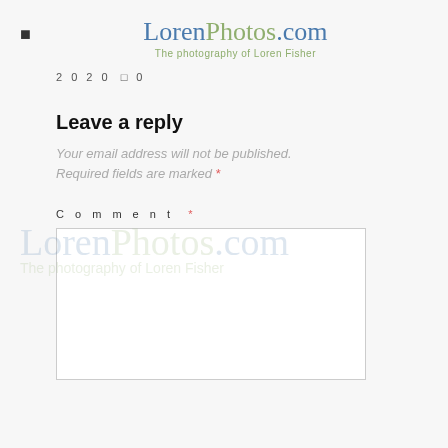LorenPhotos.com — The photography of Loren Fisher
2020   ☐ 0
Leave a reply
Your email address will not be published. Required fields are marked *
Comment *